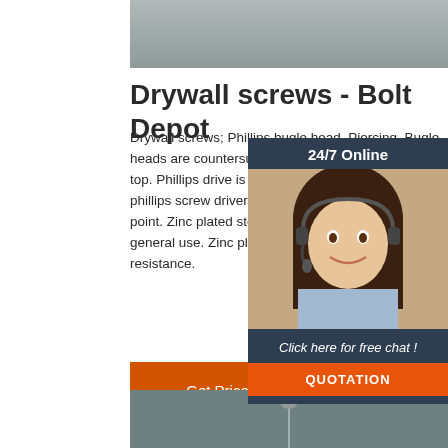[Figure (photo): Top gray background image of screws or hardware]
Drywall screws - Bolt Depot
Drywall screws; Phillips bugle head, Piercing. Bugle heads are countersunk with concave sides and a flat top. Phillips drive is x-shaped for installation with a phillips screw driver. Piercing screws have a sharp point. Zinc plated steel yellow. A low carbon steel for general use. Zinc plated for moderate corrosion resistance.
[Figure (photo): 24/7 online chat widget with a woman wearing a headset]
[Figure (other): Orange Get Price button]
[Figure (photo): Bottom gray background image of a screw]